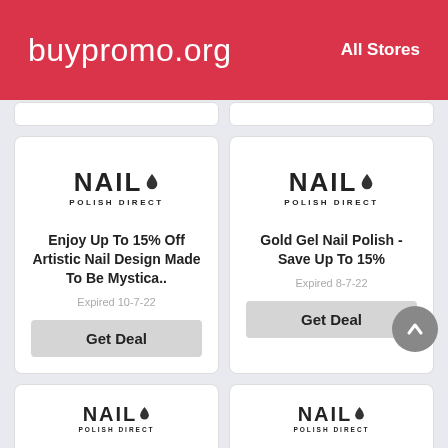buypromo.org   All Stores
[Figure (logo): Nail Polish Direct logo]
Enjoy Up To 15% Off Artistic Nail Design Made To Be Mystica..
Expired 10-7-22
Get Deal
[Figure (logo): Nail Polish Direct logo]
Gold Gel Nail Polish - Save Up To 15%
Expired 8-7-22
Get Deal
[Figure (logo): Nail Polish Direct logo]
[Figure (logo): Nail Polish Direct logo]